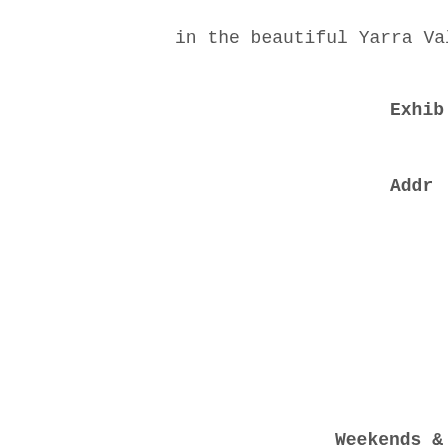in the beautiful Yarra Valley,
Exhib
Addr
Weekends & Pub